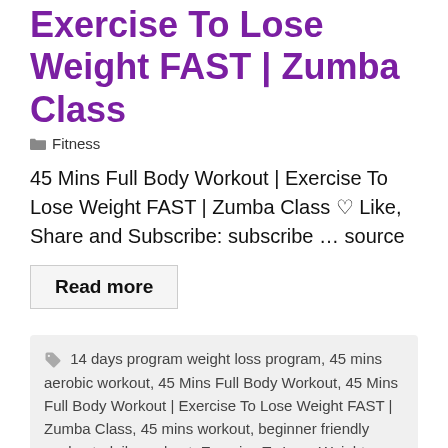Exercise To Lose Weight FAST | Zumba Class
Fitness
45 Mins Full Body Workout | Exercise To Lose Weight FAST | Zumba Class ♡ Like, Share and Subscribe: subscribe … source
Read more
14 days program weight loss program, 45 mins aerobic workout, 45 Mins Full Body Workout, 45 Mins Full Body Workout | Exercise To Lose Weight FAST | Zumba Class, 45 mins workout, beginner friendly workout, daily workout, Exercise To Lose Weight, Exercise To Lose Weight FAST, full body routine, full body workout, full body workout at home, home weight loss, how to lose weight, how to lose weight fast, lose weight fast, weight loss, weight loss